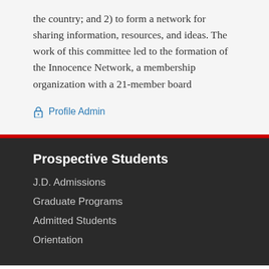the country; and 2) to form a network for sharing information, resources, and ideas. The work of this committee led to the formation of the Innocence Network, a membership organization with a 21-member board
Profile Admin
Prospective Students
J.D. Admissions
Graduate Programs
Admitted Students
Orientation